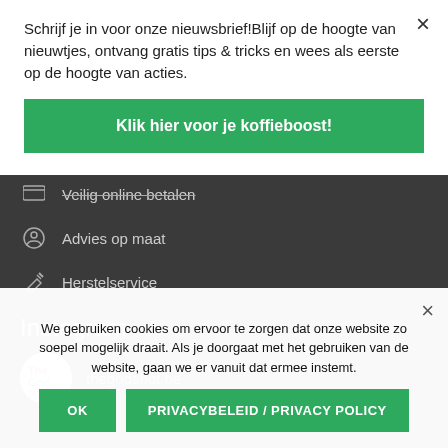Schrijf je in voor onze nieuwsbrief!Blijf op de hoogte van nieuwtjes, ontvang gratis tips & tricks en wees als eerste op de hoogte van acties.
Klik hier voor je koffieboost!
Veilig online betalen
Advies op maat
Herstelservice
Instagram
thegodshot.be
We gebruiken cookies om ervoor te zorgen dat onze website zo soepel mogelijk draait. Als je doorgaat met het gebruiken van de website, gaan we er vanuit dat ermee instemt.
OK
PRIVACYBELEID / PRIVACY POLICY